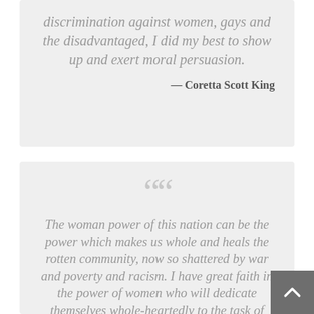discrimination against women, gays and the disadvantaged, I did my best to show up and exert moral persuasion.
— Coretta Scott King
““
The woman power of this nation can be the power which makes us whole and heals the rotten community, now so shattered by war and poverty and racism. I have great faith in the power of women who will dedicate themselves whole-heartedly to the task of